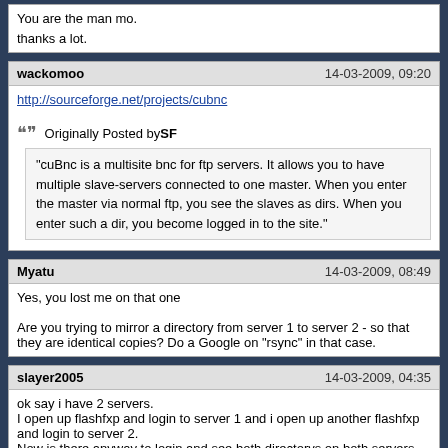You are the man mo.
thanks a lot.
wackomoo
14-03-2009, 09:20
http://sourceforge.net/projects/cubnc
Originally Posted by SF
"cuBnc is a multisite bnc for ftp servers. It allows you to have multiple slave-servers connected to one master. When you enter the master via normal ftp, you see the slaves as dirs. When you enter such a dir, you become logged in to the site."
Myatu
14-03-2009, 08:49
Yes, you lost me on that one
Are you trying to mirror a directory from server 1 to server 2 - so that they are identical copies? Do a Google on "rsync" in that case.
slayer2005
14-03-2009, 04:35
ok say i have 2 servers.
I open up flashfxp and login to server 1 and i open up another flashfxp and login to server 2.
Now is there anyway to login and see both directorys on both servers with just 1 login.
Like can you do this with the ip load balancing as this gives u 1 ip?
Am i loosing you on this?